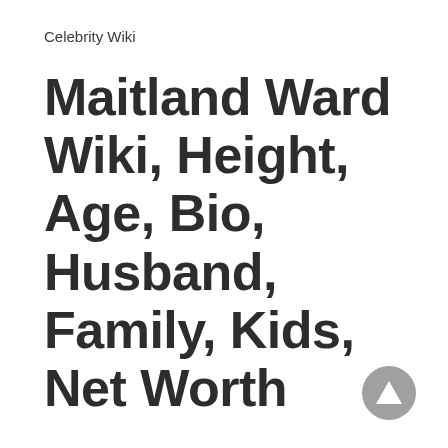Celebrity Wiki
Maitland Ward Wiki, Height, Age, Bio, Husband, Family, Kids, Net Worth